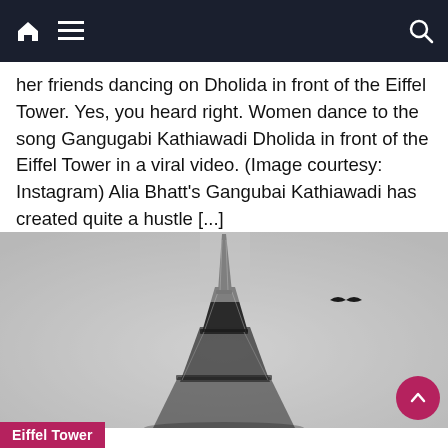Navigation bar with home icon, menu icon, and search icon
her friends dancing on Dholida in front of the Eiffel Tower. Yes, you heard right. Women dance to the song Gangugabi Kathiawadi Dholida in front of the Eiffel Tower in a viral video. (Image courtesy: Instagram) Alia Bhatt's Gangubai Kathiawadi has created quite a hustle [...]
[Figure (photo): Black and white foggy photo of the Eiffel Tower with a bird flying in the upper right area of the sky]
Eiffel Tower